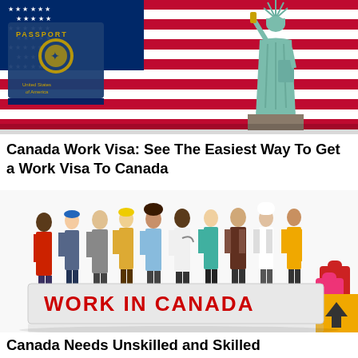[Figure (photo): Photo of US passport in front of American flag with Statue of Liberty on right side]
Canada Work Visa: See The Easiest Way To Get a Work Visa To Canada
[Figure (photo): Group of diverse workers holding a large banner that reads WORK IN CANADA, with a yellow scroll-to-top button in the lower right corner]
Canada Needs Unskilled and Skilled Workers – Apply For Jobs in Canada